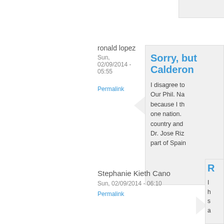ronald lopez
Sun, 02/09/2014 - 05:55
Permalink
Sorry, but Calderon
I disagree to Our Phil. Na because I th one nation. country and Dr. Jose Riz part of Spain
Stephanie Kieth Cano
Sun, 02/09/2014 - 06:10
Permalink
R
I h s a